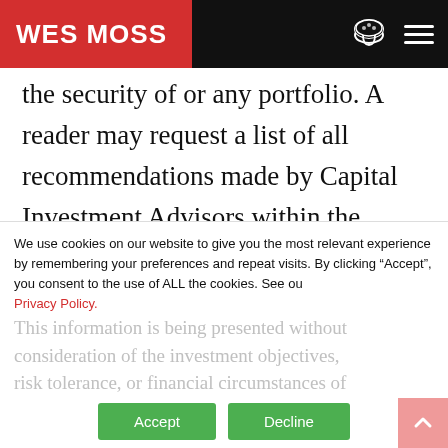WES MOSS
the security of or any portfolio. A reader may request a list of all recommendations made by Capital Investment Advisors within the immediately preceding period of one year upon written request to Capital Investment Advisors. It is not known whether any investor holding the mentioned securities have achieved their investment goals or
This information is being presented without consideration of the investment objectives, risk tolerance, or financial circumstances of
We use cookies on our website to give you the most relevant experience by remembering your preferences and repeat visits. By clicking “Accept”, you consent to the use of ALL the cookies. See our Privacy Policy.